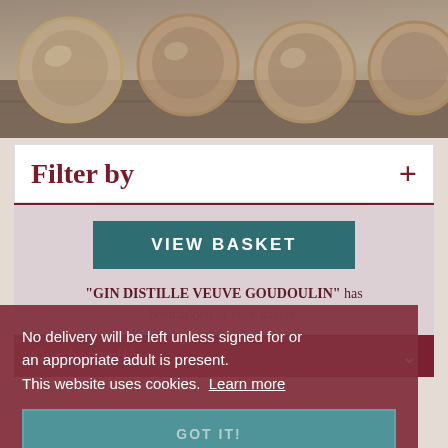[Figure (photo): Top banner photo showing glass jars or cups on a wooden surface, viewed from above, in muted brown/amber tones.]
Filter by  +
“GIN DISTILLE VEUVE GOUDOULIN” has been added to your basket.
No delivery will be left unless signed for or an appropriate adult is present.
This website uses cookies.  Learn more
GOT IT!